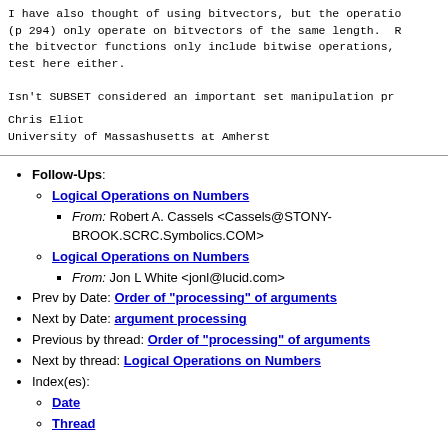I have also thought of using bitvectors, but the operatio (p 294) only operate on bitvectors of the same length. the bitvector functions only include bitwise operations, test here either.

Isn't SUBSET considered an important set manipulation pr
Chris Eliot
University of Massashusetts at Amherst
Follow-Ups: Logical Operations on Numbers — From: Robert A. Cassels <Cassels@STONY-BROOK.SCRC.Symbolics.COM>; Logical Operations on Numbers — From: Jon L White <jonl@lucid.com>
Prev by Date: Order of "processing" of arguments
Next by Date: argument processing
Previous by thread: Order of "processing" of arguments
Next by thread: Logical Operations on Numbers
Index(es): Date, Thread